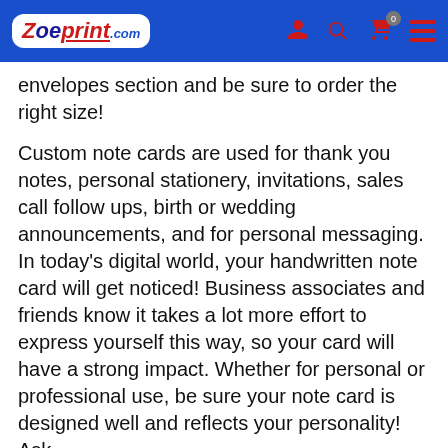Zoeprint.com
envelopes section and be sure to order the right size!
Custom note cards are used for thank you notes, personal stationery, invitations, sales call follow ups, birth or wedding announcements, and for personal messaging. In today's digital world, your handwritten note card will get noticed! Business associates and friends know it takes a lot more effort to express yourself this way, so your card will have a strong impact. Whether for personal or professional use, be sure your note card is designed well and reflects your personality! Ask